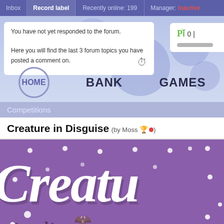Inbox | Record label | Recently online: 199 | Manager: Inactive
You have not yet responded to the forum.

Here you will find the last 3 forum topics you have posted a comment on.
HOME   BANK   GAMES
Competitions
Creature in Disguise (by Moss)
[Figure (illustration): Purple album cover art showing the text 'Creatu' in large white cursive script with dots and bat decorations, and 'in disg' visible at the bottom in black cursive]